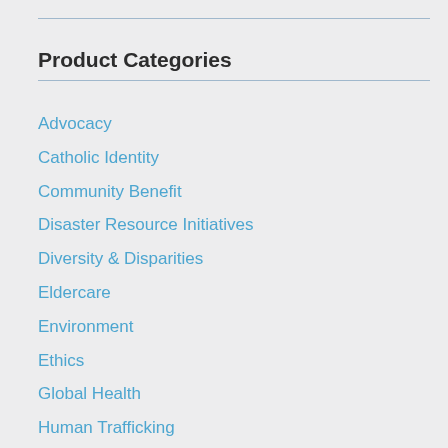Product Categories
Advocacy
Catholic Identity
Community Benefit
Disaster Resource Initiatives
Diversity & Disparities
Eldercare
Environment
Ethics
Global Health
Human Trafficking